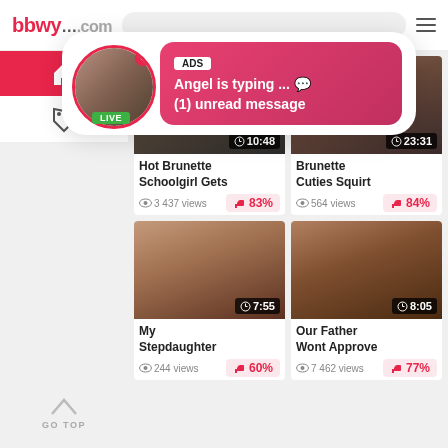bbwy...com
[Figure (screenshot): Notification popup with avatar showing LIVE badge, ADS label, text 'Angel is typing ... (1) unread message']
[Figure (photo): Video thumbnail for Hot Brunette Schoolgirl Gets, duration 10:48]
Hot Brunette Schoolgirl Gets
83%
3 437 views
[Figure (photo): Video thumbnail for Brunette Cuties Squirt, duration 23:31]
Brunette Cuties Squirt
84%
564 views
[Figure (photo): Video thumbnail for My Stepdaughter, duration 7:55]
My Stepdaughter
60%
244 views
[Figure (photo): Video thumbnail for Our Father Wont Approve, duration 8:05]
Our Father Wont Approve
77%
7 462 views